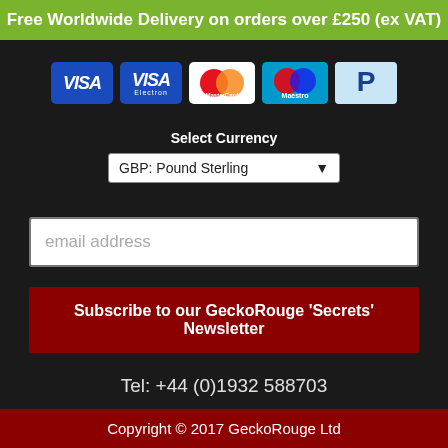Free Worldwide Delivery on orders over £250 (ex VAT)
[Figure (logo): Payment method icons: VISA (dark blue), VISA (dark blue variant), MasterCard (red/orange circles), Maestro (blue/red circles), PayPal (light blue P logo)]
Select Currency
GBP: Pound Sterling
email address
Subscribe to our GeckoRouge 'Secrets' Newsletter
Tel: +44 (0)1932 588703
VAT Registration number: GB 259 1029 05
Copyright © 2017 GeckoRouge Ltd